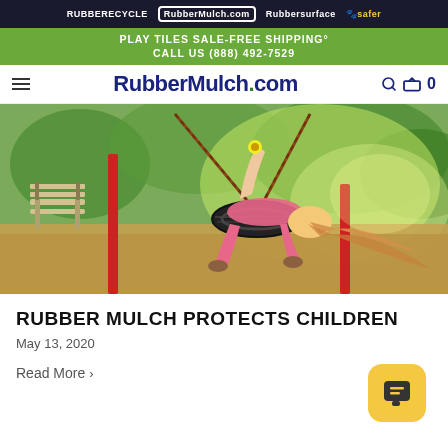RUBBERECYCLE | RubberMulch.com | Rubbersurface | PlaySafer
PLAY TILES SALE-FREE SHIPPING° CALL US (888) 492-7529
RubberMulch.com
[Figure (photo): A young girl with long blonde hair wearing a pink shirt, lying back on a tire swing with chains, at a playground with a bench and trees in the background.]
RUBBER MULCH PROTECTS CHILDREN
May 13, 2020
Read More >